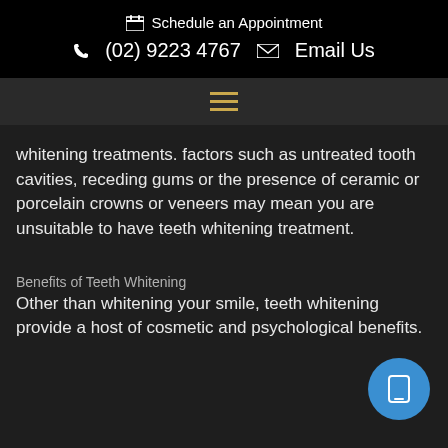Schedule an Appointment
(02) 9223 4767  Email Us
[Figure (other): Hamburger menu icon (three horizontal gold lines)]
whitening treatments. factors such as untreated tooth cavities, receding gums or the presence of ceramic or porcelain crowns or veneers may mean you are unsuitable to have teeth whitening treatment.
Benefits of Teeth Whitening
Other than whitening your smile, teeth whitening provide a host of cosmetic and psychological benefits.